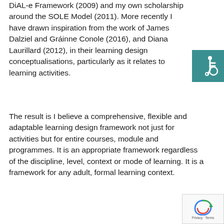DiAL-e Framework (2009) and my own scholarship around the SOLE Model (2011). More recently I have drawn inspiration from the work of James Dalziel and Gráinne Conole (2016), and Diana Laurillard (2012), in their learning design conceptualisations, particularly as it relates to learning activities.
[Figure (illustration): Accessibility icon (wheelchair symbol) in white on a teal/dark cyan square background]
The result is I believe a comprehensive, flexible and adaptable learning design framework not just for activities but for entire courses, module and programmes. It is an appropriate framework regardless of the discipline, level, context or mode of learning. It is a framework for any adult, formal learning context.
[Figure (logo): reCAPTCHA badge with circular arrow logo and Privacy · Terms text]